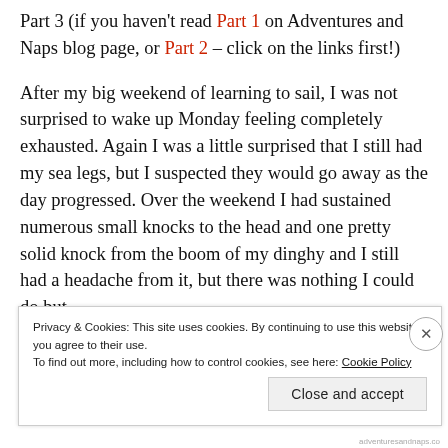Part 3 (if you haven't read Part 1 on Adventures and Naps blog page, or Part 2 – click on the links first!)
After my big weekend of learning to sail, I was not surprised to wake up Monday feeling completely exhausted. Again I was a little surprised that I still had my sea legs, but I suspected they would go away as the day progressed. Over the weekend I had sustained numerous small knocks to the head and one pretty solid knock from the boom of my dinghy and I still had a headache from it, but there was nothing I could do but
Privacy & Cookies: This site uses cookies. By continuing to use this website, you agree to their use.
To find out more, including how to control cookies, see here: Cookie Policy
Close and accept